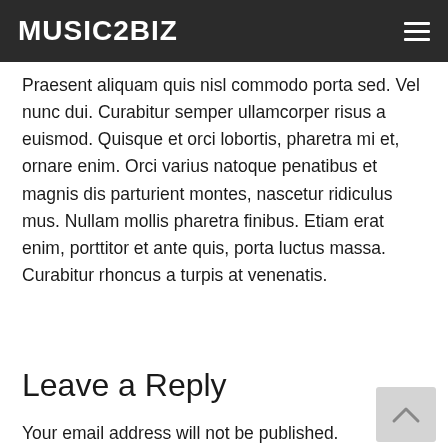MUSIC2BIZ
Praesent aliquam quis nisl commodo porta sed. Vel nunc dui. Curabitur semper ullamcorper risus a euismod. Quisque et orci lobortis, pharetra mi et, ornare enim. Orci varius natoque penatibus et magnis dis parturient montes, nascetur ridiculus mus. Nullam mollis pharetra finibus. Etiam erat enim, porttitor et ante quis, porta luctus massa. Curabitur rhoncus a turpis at venenatis.
Leave a Reply
Your email address will not be published. Required fields